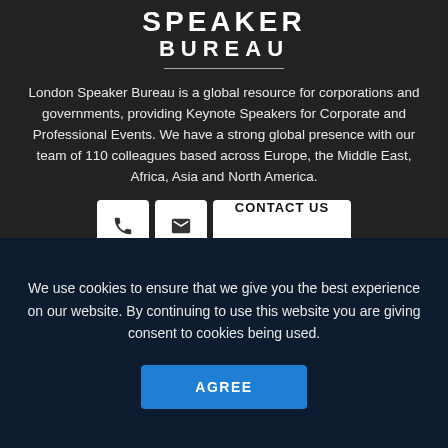SPEAKER BUREAU
London Speaker Bureau is a global resource for corporations and governments, providing Keynote Speakers for Corporate and Professional Events. We have a strong global presence with our team of 110 colleagues based across Europe, the Middle East, Africa, Asia and North America.
[Figure (infographic): Three buttons: phone icon button, email icon button, and CONTACT US button]
Recently added speakers! @SpeakerBrendan
We use cookies to ensure that we give you the best experience on our website. By continuing to use this website you are giving consent to cookies being used.
AGREE